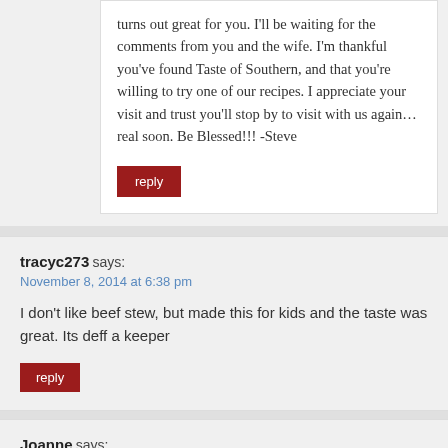turns out great for you. I'll be waiting for the comments from you and the wife. I'm thankful you've found Taste of Southern, and that you're willing to try one of our recipes. I appreciate your visit and trust you'll stop by to visit with us again… real soon. Be Blessed!!! -Steve
reply
tracyc273 says:
November 8, 2014 at 6:38 pm
I don't like beef stew, but made this for kids and the taste was great. Its deff a keeper
reply
Joanne says:
November 2, 2014 at 6:46 pm